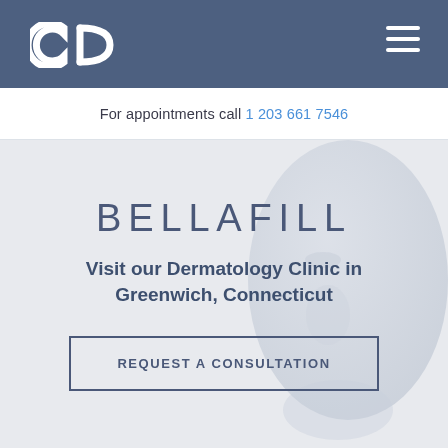GD logo | hamburger menu
For appointments call 1 203 661 7546
[Figure (photo): Hero section with light grey background showing a partial side profile of a face sculpture or mannequin on the right side, with clinic promotional text overlaid on left]
BELLAFILL
Visit our Dermatology Clinic in Greenwich, Connecticut
REQUEST A CONSULTATION